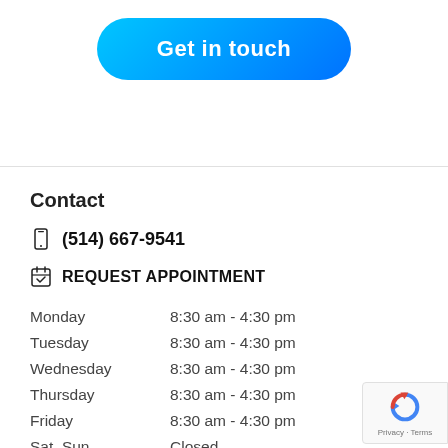Get in touch
Contact
(514) 667-9541
REQUEST APPOINTMENT
| Day | Hours |
| --- | --- |
| Monday | 8:30 am - 4:30 pm |
| Tuesday | 8:30 am - 4:30 pm |
| Wednesday | 8:30 am - 4:30 pm |
| Thursday | 8:30 am - 4:30 pm |
| Friday | 8:30 am - 4:30 pm |
| Sat, Sun | Closed |
Privacy · Terms